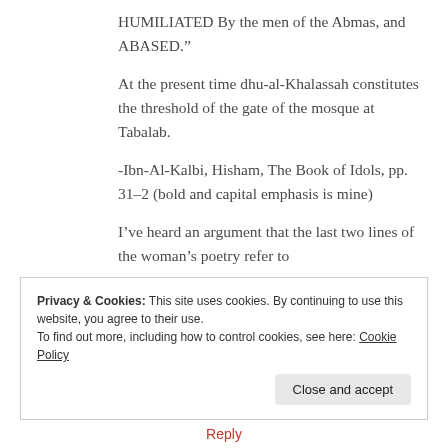HUMILIATED By the men of the Abmas, and ABASED.”
At the present time dhu-al-Khalassah constitutes the threshold of the gate of the mosque at Tabalab.
-Ibn-Al-Kalbi, Hisham, The Book of Idols, pp. 31–2 (bold and capital emphasis is mine)
I’ve heard an argument that the last two lines of the woman’s poetry refer to
Privacy & Cookies: This site uses cookies. By continuing to use this website, you agree to their use.
To find out more, including how to control cookies, see here: Cookie Policy
Close and accept
Reply